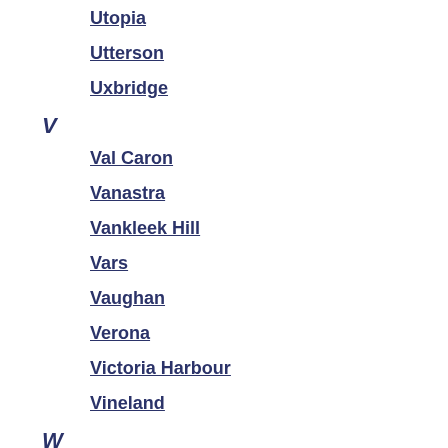Utopia
Utterson
Uxbridge
V
Val Caron
Vanastra
Vankleek Hill
Vars
Vaughan
Verona
Victoria Harbour
Vineland
W
Wainfleet
Walkerton
Wallaceburg